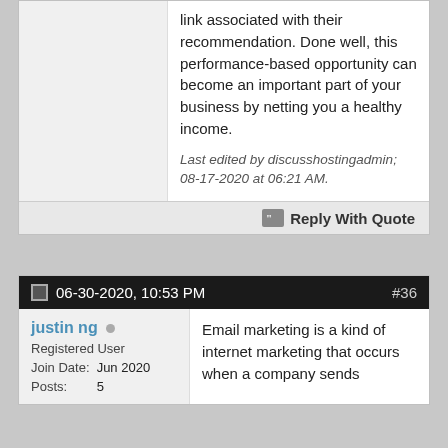link associated with their recommendation. Done well, this performance-based opportunity can become an important part of your business by netting you a healthy income.
Last edited by discusshostingadmin; 08-17-2020 at 06:21 AM.
Reply With Quote
06-30-2020, 10:53 PM
#36
justin ng
Registered User
Join Date: Jun 2020
Posts: 5
Email marketing is a kind of internet marketing that occurs when a company sends